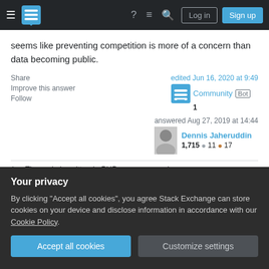Stack Exchange navigation bar with hamburger menu, logo, help, chat, search, Log in, Sign up
seems like preventing competition is more of a concern than data becoming public.
Share  Improve this answer  Follow
edited Jun 16, 2020 at 9:49  Community Bot  1
answered Aug 27, 2019 at 14:44  Dennis Jaheruddin  1,715  11  17
1  The code is written in PHP, so source code ==
Your privacy
By clicking "Accept all cookies", you agree Stack Exchange can store cookies on your device and disclose information in accordance with our Cookie Policy.
Accept all cookies   Customize settings
And finally, I don't want the database stolen either!